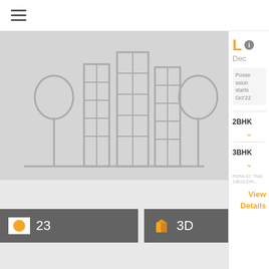[Figure (screenshot): Mobile app screenshot showing a real estate property listing with hamburger menu, building illustration, photo count badge showing 23, 3D view badge, and right panel with property details]
23
3D
L
Dec
Possession starts Oct'22
2BHK
3BHK
RERA ID: TN/01/BUILDIN...
View Details